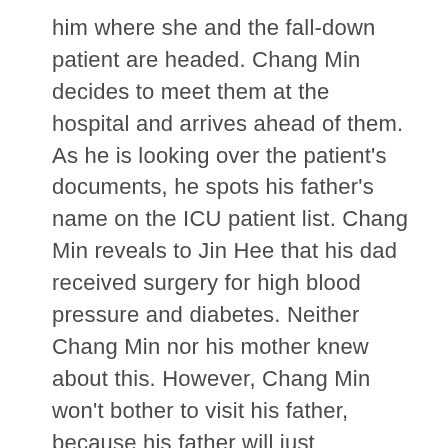him where she and the fall-down patient are headed. Chang Min decides to meet them at the hospital and arrives ahead of them. As he is looking over the patient's documents, he spots his father's name on the ICU patient list. Chang Min reveals to Jin Hee that his dad received surgery for high blood pressure and diabetes. Neither Chang Min nor his mother knew about this. However, Chang Min won't bother to visit his father, because his father will just downplay the issue.
Chang Min offers to give Jin Hee a ride, but Jin Hee insists that she will take the bus or cab instead. Clearly, Chang Min learned something from Ji Hye, because he accepts Jin Hee's answer with minimal fuss, and leaves.